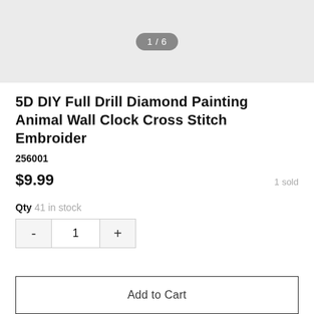[Figure (other): Product image placeholder area with page indicator '1 / 6']
5D DIY Full Drill Diamond Painting Animal Wall Clock Cross Stitch Embroider
256001
$9.99
1 sold
Qty 41 in stock
- 1 +
Add to Cart